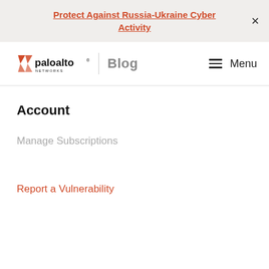Protect Against Russia-Ukraine Cyber Activity
[Figure (logo): Palo Alto Networks logo with orange chevrons and 'paloalto NETWORKS' wordmark, followed by a vertical divider and 'Blog' text, and a hamburger Menu icon on the right]
Account
Manage Subscriptions
Report a Vulnerability